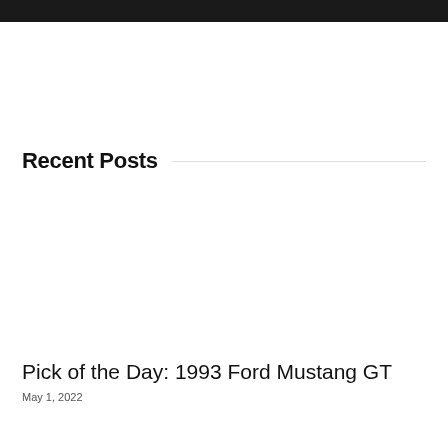Recent Posts
Pick of the Day: 1993 Ford Mustang GT
May 1, 2022